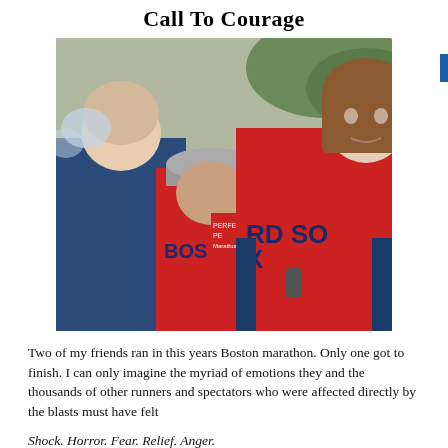Call To Courage
[Figure (photo): Two people in Boston Red Sox jerseys and a man in a blue jacket embracing emotionally outdoors, appearing distressed after the Boston Marathon bombing.]
Two of my friends ran in this years Boston marathon. Only one got to finish. I can only imagine the myriad of emotions they and the thousands of other runners and spectators who were affected directly by the blasts must have felt
Shock. Horror. Fear. Relief. Anger.